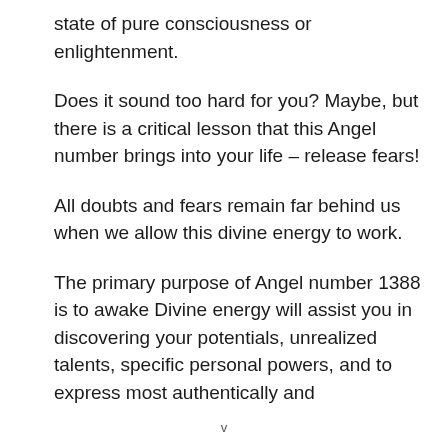state of pure consciousness or enlightenment.
Does it sound too hard for you? Maybe, but there is a critical lesson that this Angel number brings into your life – release fears!
All doubts and fears remain far behind us when we allow this divine energy to work.
The primary purpose of Angel number 1388 is to awake Divine energy will assist you in discovering your potentials, unrealized talents, specific personal powers, and to express most authentically and
v